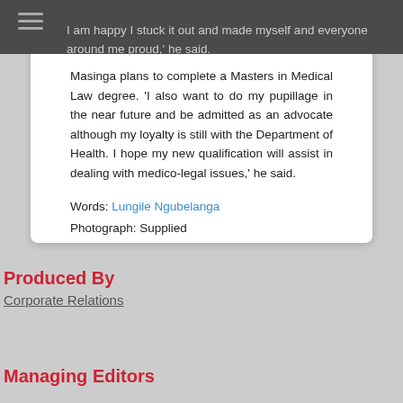I am happy I stuck it out and made myself and everyone around me proud,' he said.
Masinga plans to complete a Masters in Medical Law degree. 'I also want to do my pupillage in the near future and be admitted as an advocate although my loyalty is still with the Department of Health. I hope my new qualification will assist in dealing with medico-legal issues,' he said.
Words: Lungile Ngubelanga
Photograph: Supplied
Produced By
Corporate Relations
Managing Editors